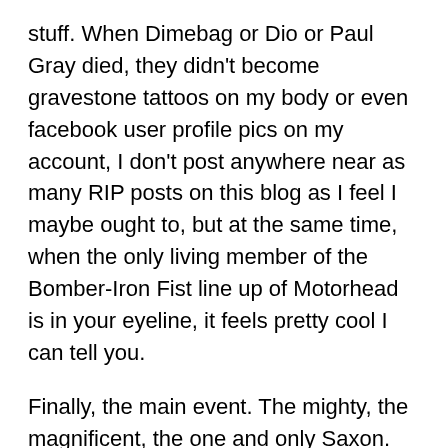stuff. When Dimebag or Dio or Paul Gray died, they didn't become gravestone tattoos on my body or even facebook user profile pics on my account, I don't post anywhere near as many RIP posts on this blog as I feel I maybe ought to, but at the same time, when the only living member of the Bomber-Iron Fist line up of Motorhead is in your eyeline, it feels pretty cool I can tell you.
Finally, the main event. The mighty, the magnificent, the one and only Saxon. They battered…um excuse me… the Ritz with their opener, the title track from their excellent newest album, 'Battering Ram.' The setlist was really cool. Last time I went to see em, it